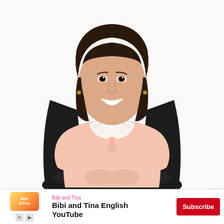[Figure (photo): A smiling young woman with straight dark hair sitting on a black leather chair. She is wearing a light pink blouse with a white lace peter-pan collar and a bow tie. White background. Professional portrait style photo.]
[Figure (logo): Bibi and Tina colorful logo in orange/red/yellow tones]
Bibi and Tina
Bibi and Tina English YouTube
Subscribe